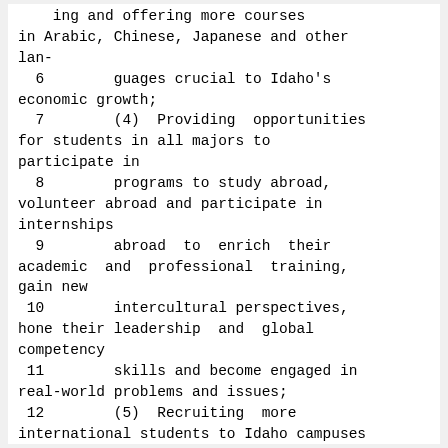ing and offering more courses in Arabic, Chinese, Japanese and other lan-
  6        guages crucial to Idaho's economic growth;
  7        (4)  Providing  opportunities for students in all majors to participate in
  8        programs to study abroad, volunteer abroad and participate in internships
  9        abroad  to  enrich  their academic  and  professional  training, gain new
 10        intercultural perspectives, hone their leadership  and  global competency
 11        skills and become engaged in real-world problems and issues;
 12        (5)  Recruiting  more international students to Idaho campuses and schools
 13        so that more opportunities exist for Idaho natives and international  stu-